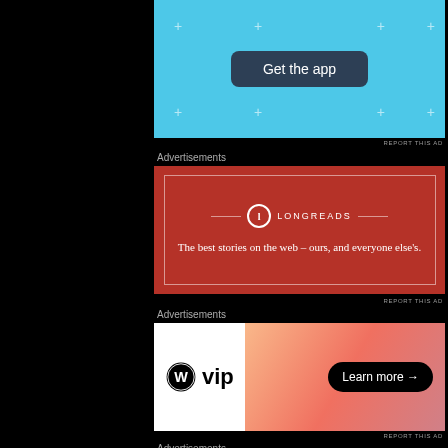[Figure (screenshot): Top blue banner ad with 'Get the app' dark navy button on light blue background with decorative plus signs]
REPORT THIS AD
Advertisements
[Figure (screenshot): Longreads advertisement on red background with logo and tagline: 'The best stories on the web – ours, and everyone else's.']
REPORT THIS AD
Advertisements
[Figure (screenshot): WordPress VIP advertisement with logo on left and orange/pink gradient background on right with 'Learn more →' black pill button]
REPORT THIS AD
Advertisements
[Figure (screenshot): Squarespace advertisement with beige background, large serif text 'Professionally designed sites in less than a week', green underline, and design card mockups]
Advertisements
[Figure (screenshot): Bloomingdale's advertisement with logo 'bloomingdales', 'View Today's Top Deals!', woman in hat photo, and 'SHOP NOW >' button]